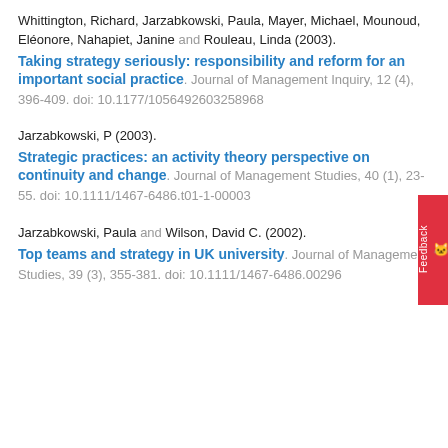Whittington, Richard, Jarzabkowski, Paula, Mayer, Michael, Mounoud, Eléonore, Nahapiet, Janine and Rouleau, Linda (2003). Taking strategy seriously: responsibility and reform for an important social practice. Journal of Management Inquiry, 12 (4), 396-409. doi: 10.1177/1056492603258968
Jarzabkowski, P (2003). Strategic practices: an activity theory perspective on continuity and change. Journal of Management Studies, 40 (1), 23-55. doi: 10.1111/1467-6486.t01-1-00003
Jarzabkowski, Paula and Wilson, David C. (2002). Top teams and strategy in UK university. Journal of Management Studies, 39 (3), 355-381. doi: 10.1111/1467-6486.00296